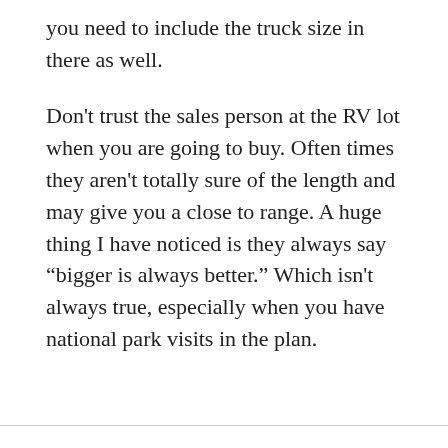you need to include the truck size in there as well.
Don't trust the sales person at the RV lot when you are going to buy. Often times they aren't totally sure of the length and may give you a close to range. A huge thing I have noticed is they always say “bigger is always better.” Which isn't always true, especially when you have national park visits in the plan.